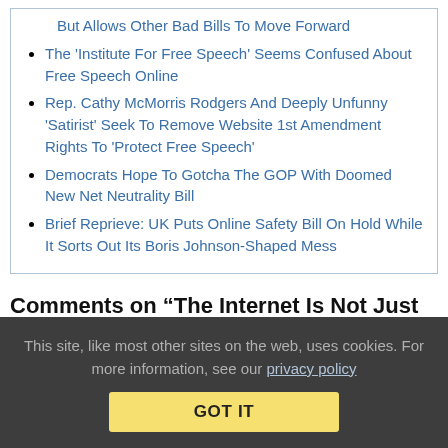But Allows Other Bad Bills To Move Forward
The 'Institute For Free Speech' Seems Confused About Free Speech Online
Rep. Cathy McMorris Rodgers And Deeply Unfunny 'Satirist' Seek To Remove Website 1st Amendment Rights To 'Protect Free Speech'
Democrats Hope To Gotcha The GOP With Doomed New Net Neutrality Bill
Brief Reprieve: UK Puts Online Safety Bill On Hold While It Sorts Out Its Boris Johnson-Shaped Mess
Comments on “The Internet Is Not Just Facebook, Google & Twitter: Creating A 'Test Suite' For Your Great Idea To Regulate The
This site, like most other sites on the web, uses cookies. For more information, see our privacy policy
GOT IT